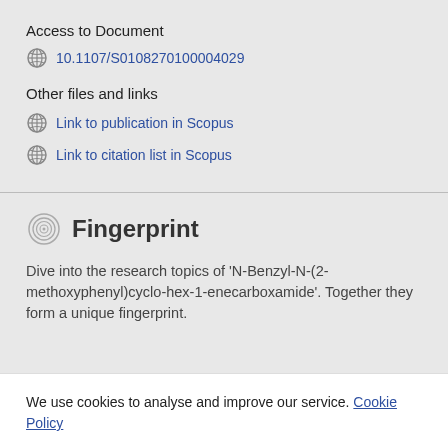Access to Document
10.1107/S0108270100004029
Other files and links
Link to publication in Scopus
Link to citation list in Scopus
Fingerprint
Dive into the research topics of 'N-Benzyl-N-(2-methoxyphenyl)cyclo-hex-1-enecarboxamide'. Together they form a unique fingerprint.
We use cookies to analyse and improve our service. Cookie Policy